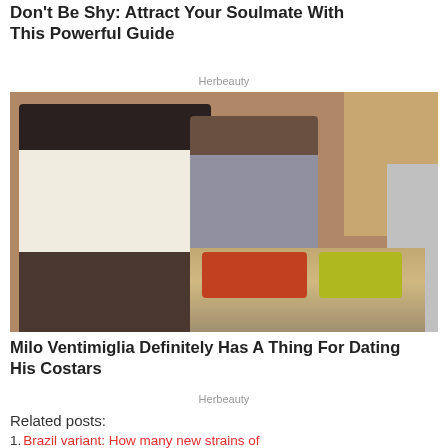Don't Be Shy: Attract Your Soulmate With This Powerful Guide
Herbeauty
[Figure (photo): A young man in a baseball-style graphic tee and a young woman in a grey cardigan standing on a street near a red-doored shop and a food cart.]
Milo Ventimiglia Definitely Has A Thing For Dating His Costars
Herbeauty
Related posts:
Brazil variant: How many new strains of